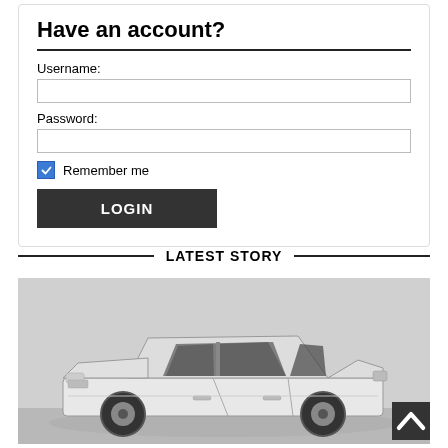Have an account?
Username:
Password:
Remember me
LOGIN
LATEST STORY
[Figure (photo): Black and white photograph of a classic car, likely from the 1970s or 1980s, parked and shown from a three-quarter front angle.]